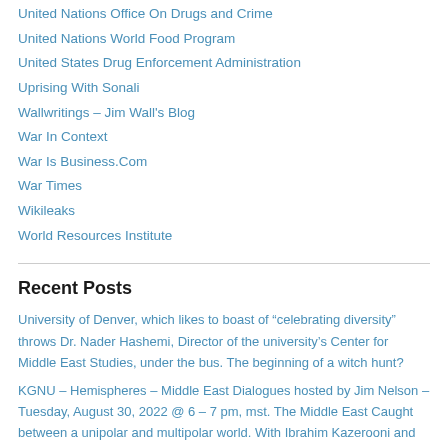United Nations Office On Drugs and Crime
United Nations World Food Program
United States Drug Enforcement Administration
Uprising With Sonali
Wallwritings – Jim Wall's Blog
War In Context
War Is Business.Com
War Times
Wikileaks
World Resources Institute
Recent Posts
University of Denver, which likes to boast of “celebrating diversity” throws Dr. Nader Hashemi, Director of the university’s Center for Middle East Studies, under the bus. The beginning of a witch hunt?
KGNU – Hemispheres – Middle East Dialogues hosted by Jim Nelson – Tuesday, August 30, 2022 @ 6 – 7 pm, mst. The Middle East Caught between a unipolar and multipolar world. With Ibrahim Kazerooni and